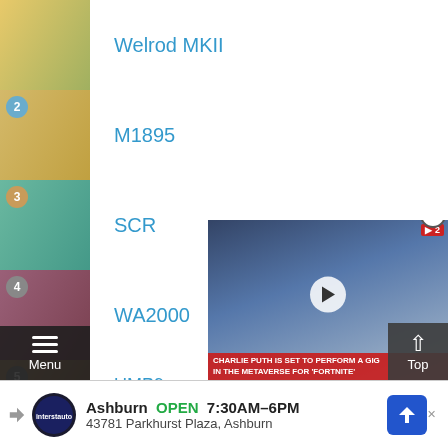Welrod MKII
2 M1895
3 SCR
4 WA2000
5 UMP9
M950A
[Figure (screenshot): Video overlay showing a man singing, with caption: CHARLIE PUTH IS SET TO PERFORM A GIG IN THE METAVERSE FOR 'FORTNITE']
Ashburn OPEN 7:30AM-6PM 43781 Parkhurst Plaza, Ashburn